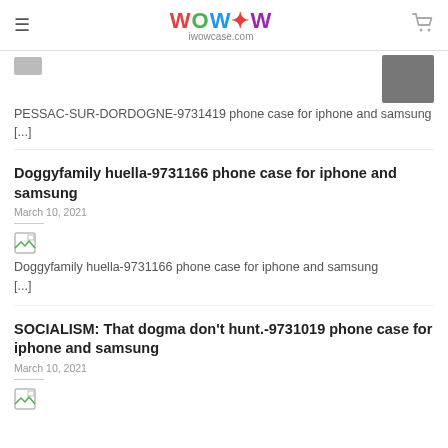WOW iwowcase.com
PESSAC-SUR-DORDOGNE-9731419 phone case for iphone and samsung [...]
Doggyfamily huella-9731166 phone case for iphone and samsung
March 10, 2021
Doggyfamily huella-9731166 phone case for iphone and samsung [...]
SOCIALISM: That dogma don't hunt.-9731019 phone case for iphone and samsung
March 10, 2021